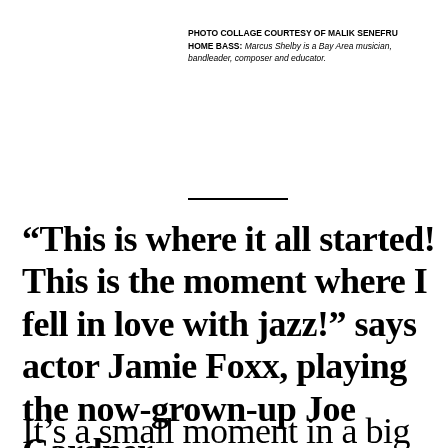PHOTO COLLAGE COURTESY OF MALIK SENEFRU
HOME BASS: Marcus Shelby is a Bay Area musician, bandleader, composer and educator.
“This is where it all started! This is the moment where I fell in love with jazz!” says actor Jamie Foxx, playing the now-grown-up Joe Gardner.
It’s a small moment in a big film. Soul b...